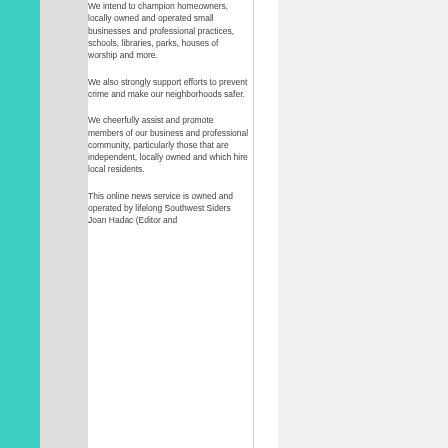We intend to champion homeowners, locally owned and operated small businesses and professional practices, schools, libraries, parks, houses of worship and more.
We also strongly support efforts to prevent crime and make our neighborhoods safer.
We cheerfully assist and promote members of our business and professional community, particularly those that are independent, locally owned and which hire local residents.
This online news service is owned and operated by lifelong Southwest Siders Joan Hadac (Editor and